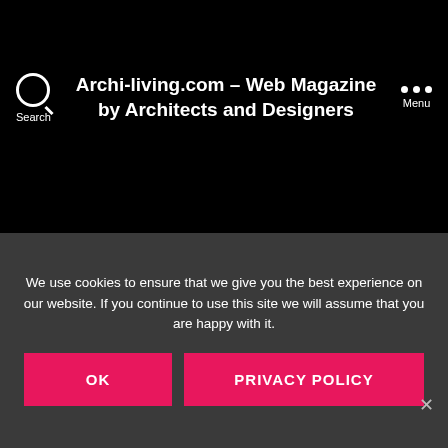Archi-living.com – Web Magazine by Architects and Designers
Tag: Furniture Fair
NEWS
100% Desi...
We use cookies to ensure that we give you the best experience on our website. If you continue to use this site we will assume that you are happy with it.
OK
PRIVACY POLICY